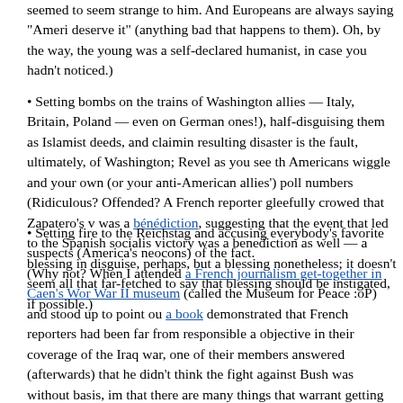seemed to seem strange to him. And Europeans are always saying "Americans deserve it" (anything bad that happens to them). Oh, by the way, the young was a self-declared humanist, in case you hadn't noticed.)
• Setting bombs on the trains of Washington allies — Italy, Britain, Poland — even on German ones!), half-disguising them as Islamist deeds, and claiming resulting disaster is the fault, ultimately, of Washington; Revel as you see th Americans wiggle and your own (or your anti-American allies') poll numbers (Ridiculous? Offended? A French reporter gleefully crowed that Zapatero's v was a bénédiction, suggesting that the event that led to the Spanish socialis victory was a benediction as well — a blessing in disguise, perhaps, but a blessing nonetheless; it doesn't seem all that far-fetched to say that blessing should be instigated, if possible.)
• Setting fire to the Reichstag and accusing everybody's favorite suspects (America's neocons) of the fact. (Why not? When I attended a French journalism get-together in Caen's World War II museum (called the Museum for Peace :oP) and stood up to point out a book demonstrated that French reporters had been far from responsible and objective in their coverage of the Iraq war, one of their members answered (afterwards) that he didn't think the fight against Bush was without basis, im that there are many things that warrant getting rid of the bad guy (Bush) and supposedly, getting the good guys (anti-war anti-Bushites) in power. If that includes twisting the truth, and hurling demented accusations against Ameri